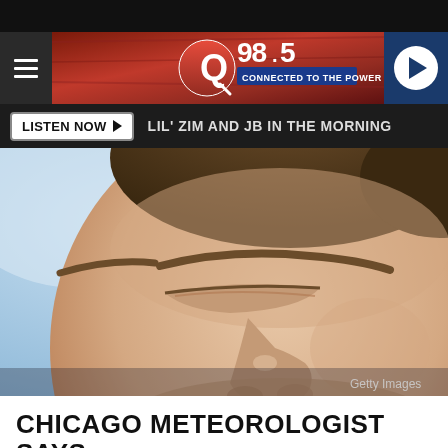[Figure (screenshot): Q98.5 radio station website header with hamburger menu, station logo, and play button]
LISTEN NOW ▶  LIL' ZIM AND JB IN THE MORNING
[Figure (photo): Close-up photo of a man squinting in cold weather with frozen breath visible, nose and eyebrows prominent. Getty Images watermark in bottom right.]
CHICAGO METEOROLOGIST SAYS